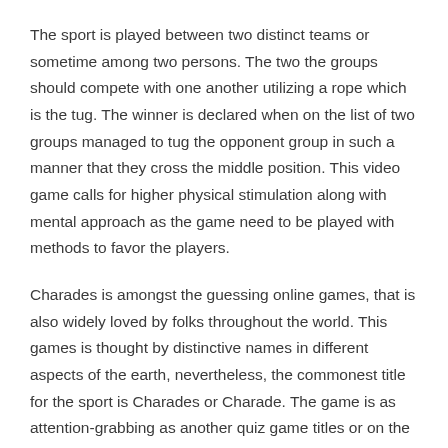The sport is played between two distinct teams or sometime among two persons. The two the groups should compete with one another utilizing a rope which is the tug. The winner is declared when on the list of two groups managed to tug the opponent group in such a manner that they cross the middle position. This video game calls for higher physical stimulation along with mental approach as the game need to be played with methods to favor the players.
Charades is amongst the guessing online games, that is also widely loved by folks throughout the world. This games is thought by distinctive names in different aspects of the earth, nevertheless, the commonest title for the sport is Charades or Charade. The game is as attention-grabbing as another quiz game titles or on the internet trivia game titles. Charades also improves IQ as it entails lots of mental exercising in form of guess works. The game is predicated on performing and guessing techniques. As one particular man or woman acts out a word or maybe a phrase and